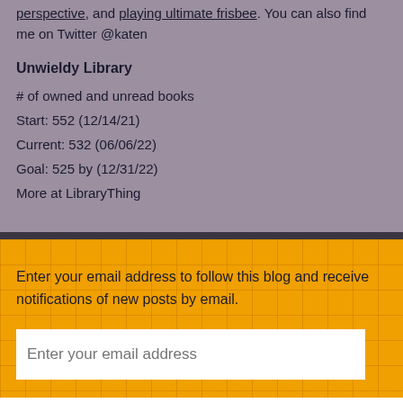perspective, and playing ultimate frisbee. You can also find me on Twitter @katen
Unwieldy Library
# of owned and unread books
Start: 552 (12/14/21)
Current: 532 (06/06/22)
Goal: 525 by (12/31/22)
More at LibraryThing
Enter your email address to follow this blog and receive notifications of new posts by email.